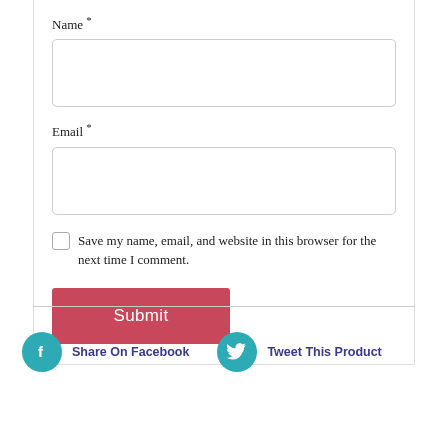Name *
Email *
Save my name, email, and website in this browser for the next time I comment.
Submit
Share On Facebook
Tweet This Product